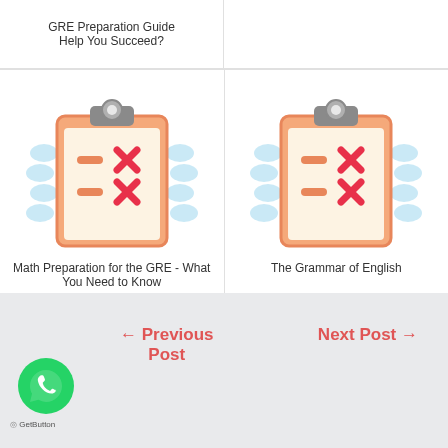GRE Preparation Guide Help You Succeed?
[Figure (illustration): Clipboard icon with orange border, pink/red X marks and orange dash marks, with light blue wavy decorations on sides - represents Math Preparation for the GRE]
Math Preparation for the GRE - What You Need to Know
[Figure (illustration): Clipboard icon with orange border, pink/red X marks and orange dash marks, with light blue wavy decorations on sides - represents The Grammar of English]
The Grammar of English
← Previous Post
Next Post →